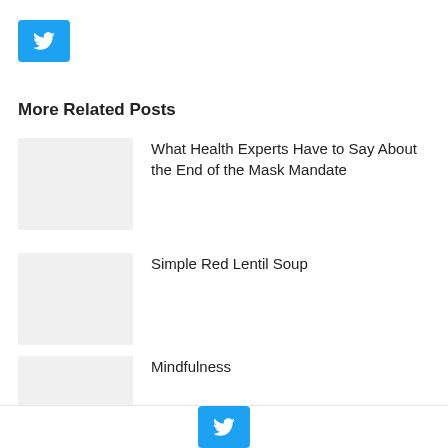[Figure (logo): Twitter bird logo button (blue background, white bird icon) in upper left]
More Related Posts
[Figure (photo): Placeholder thumbnail image for post 1]
What Health Experts Have to Say About the End of the Mask Mandate
[Figure (photo): Placeholder thumbnail image for post 2]
Simple Red Lentil Soup
[Figure (photo): Placeholder thumbnail image for post 3]
Mindfulness
[Figure (logo): Twitter bird logo button (blue background, white bird icon) in bottom center bar]